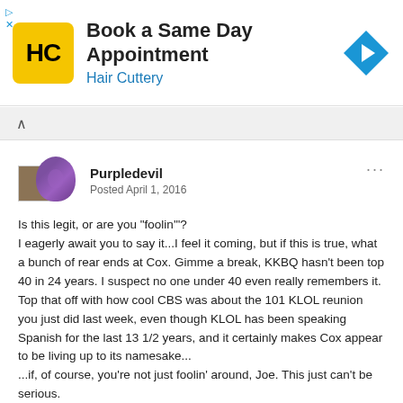[Figure (infographic): Hair Cuttery advertisement banner with yellow logo showing HC, text 'Book a Same Day Appointment' and 'Hair Cuttery', and a blue navigation arrow icon]
Purpledevil
Posted April 1, 2016
Is this legit, or are you "foolin'"?
I eagerly await you to say it...I feel it coming, but if this is true, what a bunch of rear ends at Cox. Gimme a break, KKBQ hasn't been top 40 in 24 years. I suspect no one under 40 even really remembers it. Top that off with how cool CBS was about the 101 KLOL reunion you just did last week, even though KLOL has been speaking Spanish for the last 13 1/2 years, and it certainly makes Cox appear to be living up to its namesake...
...if, of course, you're not just foolin' around, Joe. This just can't be serious.